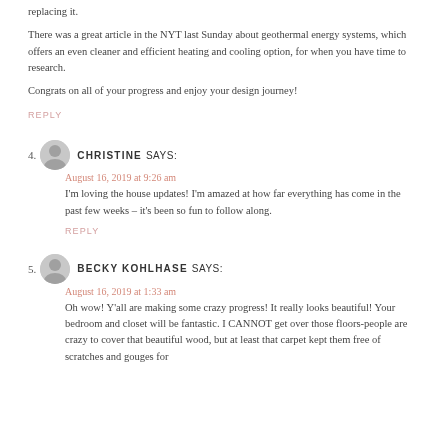replacing it.
There was a great article in the NYT last Sunday about geothermal energy systems, which offers an even cleaner and efficient heating and cooling option, for when you have time to research.
Congrats on all of your progress and enjoy your design journey!
REPLY
4. CHRISTINE SAYS:
August 16, 2019 at 9:26 am
I'm loving the house updates! I'm amazed at how far everything has come in the past few weeks – it's been so fun to follow along.
REPLY
5. BECKY KOHLHASE SAYS:
August 16, 2019 at 1:33 am
Oh wow! Y'all are making some crazy progress! It really looks beautiful! Your bedroom and closet will be fantastic. I CANNOT get over those floors-people are crazy to cover that beautiful wood, but at least that carpet kept them free of scratches and gouges for